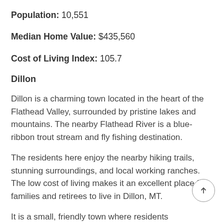Population: 10,551
Median Home Value: $435,560
Cost of Living Index: 105.7
Dillon
Dillon is a charming town located in the heart of the Flathead Valley, surrounded by pristine lakes and mountains. The nearby Flathead River is a blue-ribbon trout stream and fly fishing destination.
The residents here enjoy the nearby hiking trails, stunning surroundings, and local working ranches. The low cost of living makes it an excellent place for families and retirees to live in Dillon, MT.
It is a small, friendly town where residents